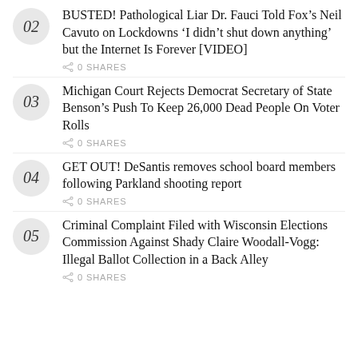02 BUSTED! Pathological Liar Dr. Fauci Told Fox’s Neil Cavuto on Lockdowns ‘I didn’t shut down anything’ but the Internet Is Forever [VIDEO]
0 SHARES
03 Michigan Court Rejects Democrat Secretary of State Benson’s Push To Keep 26,000 Dead People On Voter Rolls
0 SHARES
04 GET OUT! DeSantis removes school board members following Parkland shooting report
0 SHARES
05 Criminal Complaint Filed with Wisconsin Elections Commission Against Shady Claire Woodall-Vogg: Illegal Ballot Collection in a Back Alley
0 SHARES